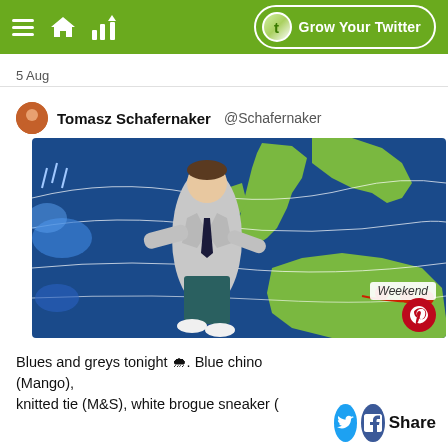Grow Your Twitter
5 Aug
Tomasz Schafernaker @Schafernaker
[Figure (photo): TV weather presenter standing in front of a blue weather map showing UK and Western Europe, with white isobar lines and red weather front symbols. 'Weekend' label visible in lower right. Pinterest share button overlay.]
Blues and greys tonight 🌧. Blue chino (Mango), knitted tie (M&S), white brogue sneaker (